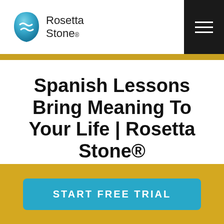Rosetta Stone
Spanish Lessons Bring Meaning To Your Life | Rosetta Stone®
Spanish lessons will teach you
START FREE TRIAL